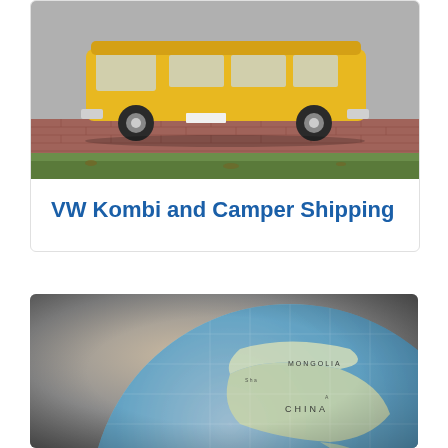[Figure (photo): Yellow VW Kombi van parked on a brick driveway next to a grass lawn, side view]
VW Kombi and Camper Shipping
[Figure (photo): Close-up photograph of a globe showing Asia region with Mongolia and China visible, blurred background]